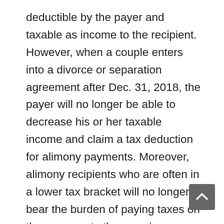deductible by the payer and taxable as income to the recipient. However, when a couple enters into a divorce or separation agreement after Dec. 31, 2018, the payer will no longer be able to decrease his or her taxable income and claim a tax deduction for alimony payments. Moreover, alimony recipients who are often in a lower tax bracket will no longer bear the burden of paying taxes on those amounts they receive.
This change could result in higher combined tax liabilities, and more of divorcing couples' money going to the government, until 2026, when this provision is set to expire. It may also make divorce negotiations more difficult in light of the ongoing...